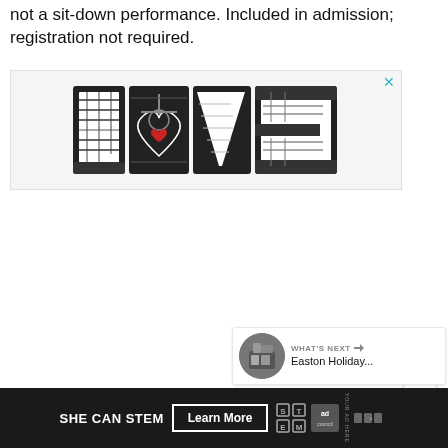not a sit-down performance. Included in admission; registration not required.
[Figure (illustration): Decorative 'LOVE' text logo in black and white with intricate illustration patterns inside each letter, with a small red heart detail in the 'O'. An X close button appears in the top right corner.]
[Figure (infographic): Teal/cyan circular heart favorite button (floating action button)]
[Figure (infographic): White circular share button with share icon (floating action button)]
[Figure (photo): What's Next thumbnail preview card showing 'Easton Holiday...' with a circular photo thumbnail]
[Figure (infographic): Bottom advertisement banner: 'SHE CAN STEM' with 'Learn More' button, STEM logo, Ad Council logo, and media network logo on dark background]